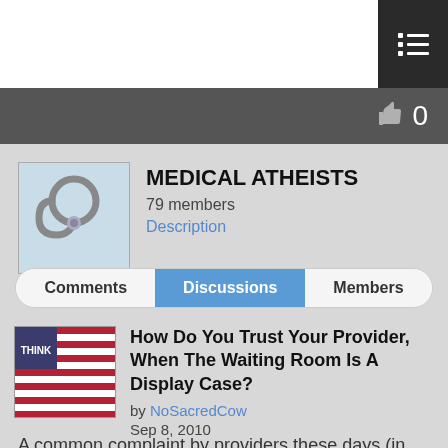MEDICAL ATHEISTS — 79 members — Description
Comments | Discussions | Members
How Do You Trust Your Provider, When The Waiting Room Is A Display Case?
by NoSacredCow
Sep 8, 2010
A common complaint by providers these days (in America that is) is that they aren't making as much money as they used to. (Aaawwww and here we thought the idea was to help people.)